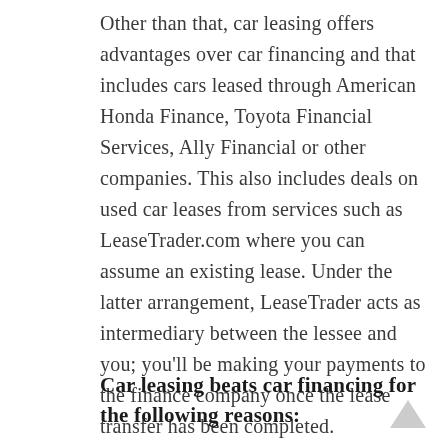Other than that, car leasing offers advantages over car financing and that includes cars leased through American Honda Finance, Toyota Financial Services, Ally Financial or other companies. This also includes deals on used car leases from services such as LeaseTrader.com where you can assume an existing lease. Under the latter arrangement, LeaseTrader acts as intermediary between the lessee and you; you'll be making your payments to the finance company once the lease transfer has been completed.
Car leasing beats car financing for the following reasons: